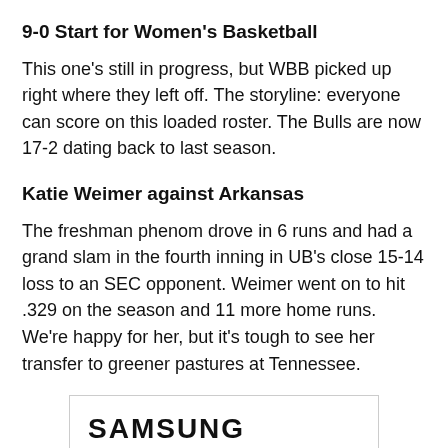9-0 Start for Women's Basketball
This one's still in progress, but WBB picked up right where they left off. The storyline: everyone can score on this loaded roster. The Bulls are now 17-2 dating back to last season.
Katie Weimer against Arkansas
The freshman phenom drove in 6 runs and had a grand slam in the fourth inning in UB's close 15-14 loss to an SEC opponent. Weimer went on to hit .329 on the season and 11 more home runs. We're happy for her, but it's tough to see her transfer to greener pastures at Tennessee.
[Figure (logo): Samsung logo in bold uppercase letters inside a bordered rectangle advertisement box]